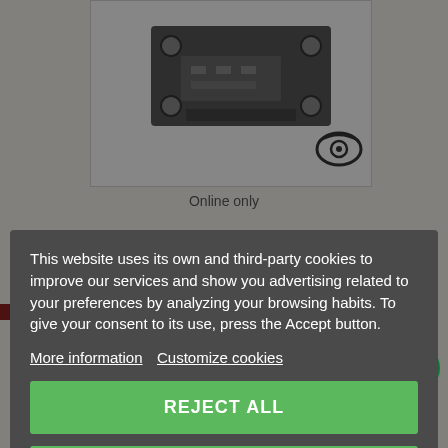[Figure (photo): Electronic component/circuit board module shown from above on white background, with an eye/camera watermark icon in bottom-right corner]
Online only
This website uses its own and third-party cookies to improve our services and show you advertising related to your preferences by analyzing your browsing habits. To give your consent to its use, press the Accept button.
More information   Customize cookies
REJECT ALL
I ACCEPT
More
Questions?Contact me on WhatsApp?